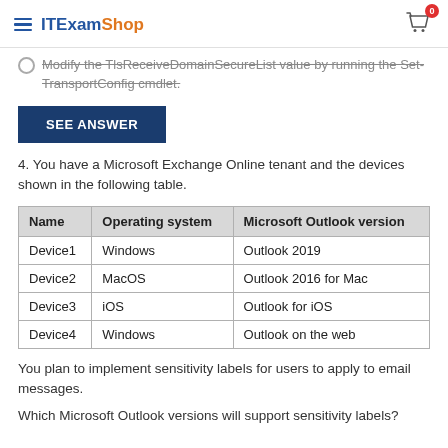ITExamShop
Modify the TlsReceiveDomainSecureList value by running the Set-TransportConfig cmdlet.
SEE ANSWER
4. You have a Microsoft Exchange Online tenant and the devices shown in the following table.
| Name | Operating system | Microsoft Outlook version |
| --- | --- | --- |
| Device1 | Windows | Outlook 2019 |
| Device2 | MacOS | Outlook 2016 for Mac |
| Device3 | iOS | Outlook for iOS |
| Device4 | Windows | Outlook on the web |
You plan to implement sensitivity labels for users to apply to email messages.
Which Microsoft Outlook versions will support sensitivity labels?